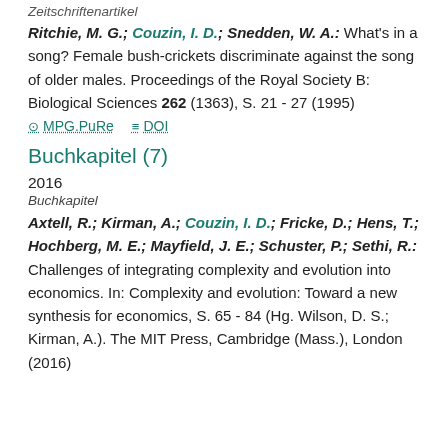Zeitschriftenartikel
Ritchie, M. G.; Couzin, I. D.; Snedden, W. A.: What's in a song? Female bush-crickets discriminate against the song of older males. Proceedings of the Royal Society B: Biological Sciences 262 (1363), S. 21 - 27 (1995)
MPG.PuRe   DOI
Buchkapitel (7)
2016
Buchkapitel
Axtell, R.; Kirman, A.; Couzin, I. D.; Fricke, D.; Hens, T.; Hochberg, M. E.; Mayfield, J. E.; Schuster, P.; Sethi, R.: Challenges of integrating complexity and evolution into economics. In: Complexity and evolution: Toward a new synthesis for economics, S. 65 - 84 (Hg. Wilson, D. S.; Kirman, A.). The MIT Press, Cambridge (Mass.), London (2016)